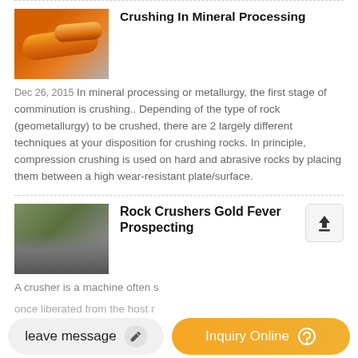[Figure (photo): Orange industrial cylindrical drum/pipe equipment in a processing facility]
Crushing In Mineral Processing
Dec 26, 2015 In mineral processing or metallurgy, the first stage of comminution is crushing.. Depending of the type of rock (geometallurgy) to be crushed, there are 2 largely different techniques at your disposition for crushing rocks. In principle, compression crushing is used on hard and abrasive rocks by placing them between a high wear-resistant plate/surface.
[Figure (photo): Rock crushing machinery at a gold prospecting site]
Rock Crushers Gold Fever Prospecting
A crusher is a machine often s
once liberated from the host r